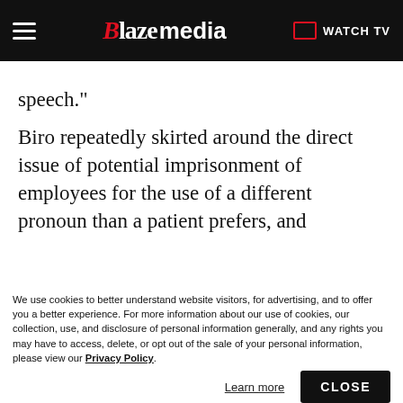Blaze media | WATCH TV
speech."
Biro repeatedly skirted around the direct issue of potential imprisonment of employees for the use of a different pronoun than a patient prefers, and
[Figure (screenshot): Notification popup overlay: Blaze Media logo icon in red circle, bold heading 'Stay updated on the latest news!', subtext 'Allow notifications to ensure you don't miss out on new articles', with Block and Allow buttons]
We use cookies to better understand website visitors, for advertising, and to offer you a better experience. For more information about our use of cookies, our collection, use, and disclosure of personal information generally, and any rights you may have to access, delete, or opt out of the sale of your personal information, please view our Privacy Policy.
Learn more | CLOSE